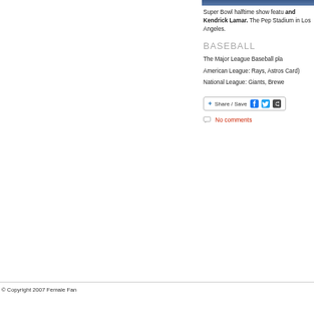[Figure (photo): Top portion of an image, partially visible at top of right column]
Super Bowl halftime show featu and Kendrick Lamar. The Pep Stadium in Los Angeles.
BASEBALL
The Major League Baseball pla
American League: Rays, Astros Card)
National League: Giants, Brewe
Share / Save
No comments
© Copyright 2007 Female Fan